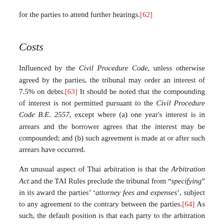for the parties to attend further hearings.[62]
Costs
Influenced by the Civil Procedure Code, unless otherwise agreed by the parties, the tribunal may order an interest of 7.5% on debts.[63] It should be noted that the compounding of interest is not permitted pursuant to the Civil Procedure Code B.E. 2557, except where (a) one year's interest is in arrears and the borrower agrees that the interest may be compounded; and (b) such agreement is made at or after such arrears have occurred.
An unusual aspect of Thai arbitration is that the Arbitration Act and the TAI Rules preclude the tribunal from "specifying" in its award the parties' 'attorney fees and expenses', subject to any agreement to the contrary between the parties.[64] As such, the default position is that each party to the arbitration is responsible for its own legal fees, regardless of the result of the arbitration. In practice, parties regularly grant such powers of